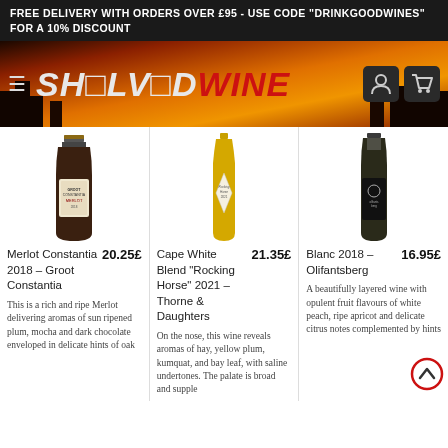FREE DELIVERY WITH ORDERS OVER £95 - USE CODE "DRINKGOODWINES" FOR A 10% DISCOUNT
[Figure (logo): ShelvedWine website header with orange sunset background, hamburger menu, stylized SHELVEDWINE logo in white and red italic, user icon and cart icon]
[Figure (photo): Wine bottle: Merlot Constantia 2018 – Groot Constantia, dark red wine bottle with label]
20.25£
Merlot Constantia 2018 – Groot Constantia
This is a rich and ripe Merlot delivering aromas of sun ripened plum, mocha and dark chocolate enveloped in delicate hints of oak
[Figure (photo): Wine bottle: Cape White Blend Rocking Horse 2021 – Thorne & Daughters, yellow/amber bottle]
21.35£
Cape White Blend "Rocking Horse" 2021 – Thorne & Daughters
On the nose, this wine reveals aromas of hay, yellow plum, kumquat, and bay leaf, with saline undertones. The palate is broad and supple
[Figure (photo): Wine bottle: Blanc 2018 – Olifantsberg, dark bottle with black label and white detail]
16.95£
Blanc 2018 – Olifantsberg
A beautifully layered wine with opulent fruit flavours of white peach, ripe apricot and delicate citrus notes complemented by hints